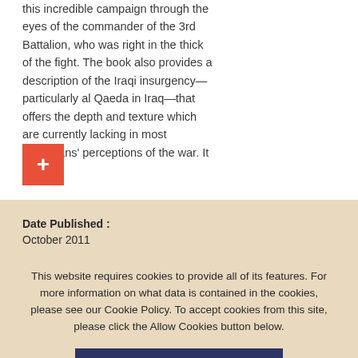this incredible campaign through the eyes of the commander of the 3rd Battalion, who was right in the thick of the fight. The book also provides a description of the Iraqi insurgency—particularly al Qaeda in Iraq—that offers the depth and texture which are currently lacking in most Americans' perceptions of the war. It
[Figure (other): Red square button with white plus sign]
Date Published :
October 2011
This website requires cookies to provide all of its features. For more information on what data is contained in the cookies, please see our Cookie Policy. To accept cookies from this site, please click the Allow Cookies button below.
Allow Cookies